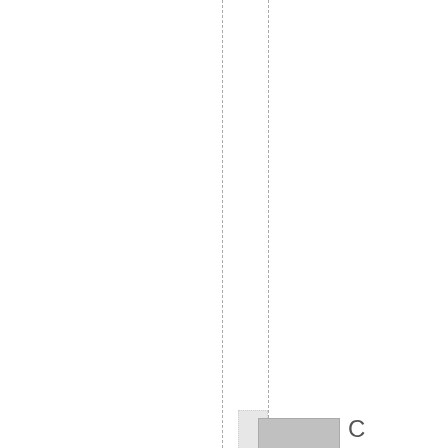ightorishismessingmearound
[Figure (other): Two gray rectangles partially visible at the bottom of the page, followed by the letter C]